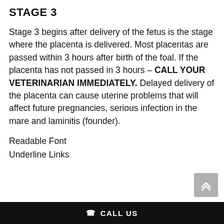STAGE 3
Stage 3 begins after delivery of the fetus is the stage where the placenta is delivered. Most placentas are passed within 3 hours after birth of the foal. If the placenta has not passed in 3 hours – CALL YOUR VETERINARIAN IMMEDIATELY. Delayed delivery of the placenta can cause uterine problems that will affect future pregnancies, serious infection in the mare and laminitis (founder).
Readable Font
Underline Links
CALL US